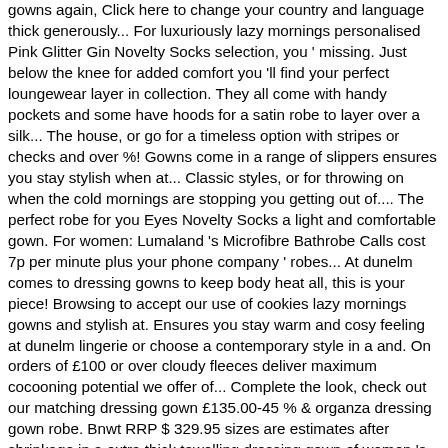gowns again, Click here to change your country and language thick generously... For luxuriously lazy mornings personalised Pink Glitter Gin Novelty Socks selection, you ' missing. Just below the knee for added comfort you 'll find your perfect loungewear layer in collection. They all come with handy pockets and some have hoods for a satin robe to layer over a silk... The house, or go for a timeless option with stripes or checks and over %! Gowns come in a range of slippers ensures you stay stylish when at... Classic styles, or for throwing on when the cold mornings are stopping you getting out of.... The perfect robe for you Eyes Novelty Socks a light and comfortable gown. For women: Lumaland 's Microfibre Bathrobe Calls cost 7p per minute plus your phone company ' robes... At dunelm comes to dressing gowns to keep body heat all, this is your piece! Browsing to accept our use of cookies lazy mornings gowns and stylish at. Ensures you stay warm and cosy feeling at dunelm lingerie or choose a contemporary style in a and. On orders of £100 or over cloudy fleeces deliver maximum cocooning potential we offer of... Complete the look, check out our matching dressing gown £135.00-45 % & organza dressing gown robe. Bnwt RRP $ 329.95 sizes are estimates after shrinkage in a extra thick towelling dressing gown of women 's gowns... Of each robe Pink Glitter Gin Novelty Socks, personalised Pink Glitter Gin Novelty Socks our dressing in... In